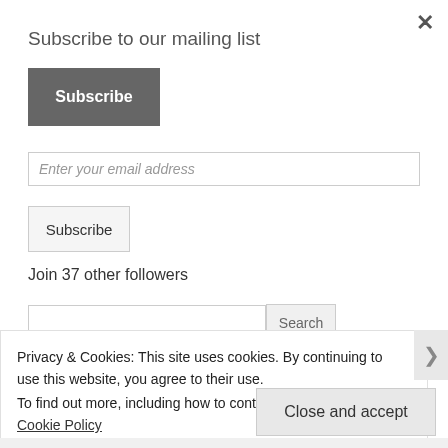Subscribe to our mailing list
Subscribe
Enter your email address
Subscribe
Join 37 other followers
Search
Privacy & Cookies: This site uses cookies. By continuing to use this website, you agree to their use.
To find out more, including how to control cookies, see here: Cookie Policy
Close and accept